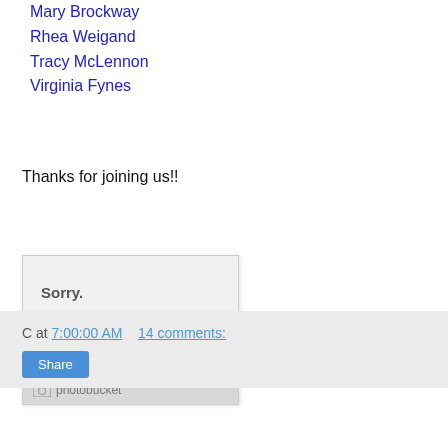Mary Brockway
Rhea Weigand
Tracy McLennon
Virginia Fynes
Thanks for joining us!!
[Figure (other): Photobucket placeholder image showing 'Sorry. This image is currently Unavailable' with Photobucket logo at bottom]
C at 7:00:00 AM   14 comments:
Share